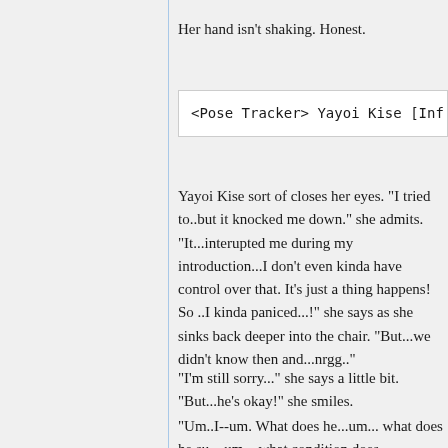Her hand isn't shaking. Honest.
<Pose Tracker> Yayoi Kise [Infi
Yayoi Kise sort of closes her eyes. "I tried to..but it knocked me down." she admits. "It...interupted me during my introduction...I don't even kinda have control over that. It's just a thing happens! So ..I kinda paniced...!" she says as she sinks back deeper into the chair. "But...we didn't know then and...nrgg.."
"I'm still sorry..." she says a little bit. "But...he's okay!" she smiles.
"Um..I--um. What does he...um... what does he su---um... what condition does he ha-" she added, hesitantly.